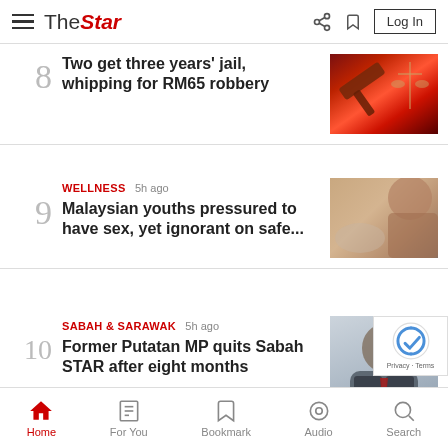The Star - Log In
8 - Two get three years' jail, whipping for RM65 robbery
9 - WELLNESS 5h ago - Malaysian youths pressured to have sex, yet ignorant on safe...
10 - SABAH & SARAWAK 5h ago - Former Putatan MP quits Sabah STAR after eight months
Home | For You | Bookmark | Audio | Search